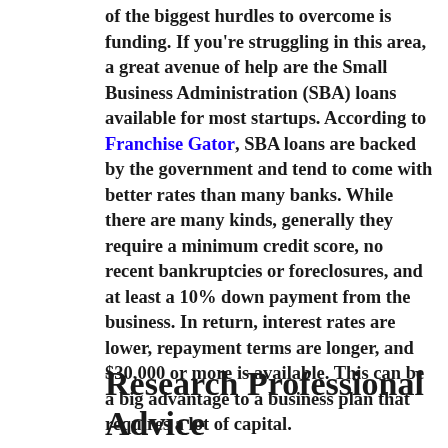of the biggest hurdles to overcome is funding. If you're struggling in this area, a great avenue of help are the Small Business Administration (SBA) loans available for most startups. According to Franchise Gator, SBA loans are backed by the government and tend to come with better rates than many banks. While there are many kinds, generally they require a minimum credit score, no recent bankruptcies or foreclosures, and at least a 10% down payment from the business. In return, interest rates are lower, repayment terms are longer, and $30,000 or more is available. This can be a big advantage to a business plan that requires a lot of capital.
Research Professional Advice